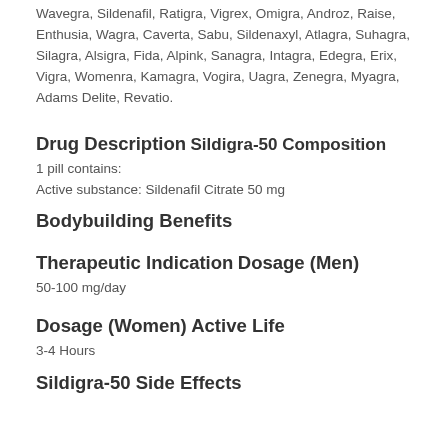Wavegra, Sildenafil, Ratigra, Vigrex, Omigra, Androz, Raise, Enthusia, Wagra, Caverta, Sabu, Sildenaxyl, Atlagra, Suhagra, Silagra, Alsigra, Fida, Alpink, Sanagra, Intagra, Edegra, Erix, Vigra, Womenra, Kamagra, Vogira, Uagra, Zenegra, Myagra, Adams Delite, Revatio.
Drug Description
Sildigra-50 Composition
1 pill contains:
Active substance: Sildenafil Citrate 50 mg
Bodybuilding Benefits
Therapeutic Indication
Dosage (Men)
50-100 mg/day
Dosage (Women)
Active Life
3-4 Hours
Sildigra-50 Side Effects